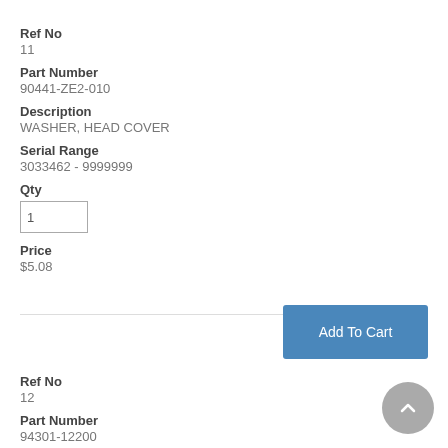Ref No
11
Part Number
90441-ZE2-010
Description
WASHER, HEAD COVER
Serial Range
3033462 - 9999999
Qty
1
Price
$5.08
Add To Cart
Ref No
12
Part Number
94301-12200
Description